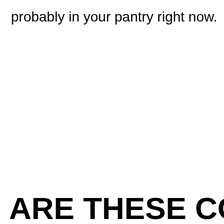probably in your pantry right now.
ARE THESE COPYAT